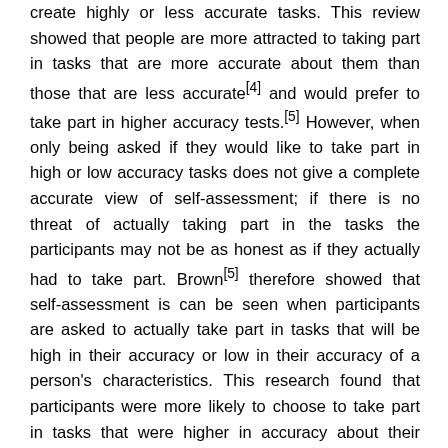create highly or less accurate tasks. This review showed that people are more attracted to taking part in tasks that are more accurate about them than those that are less accurate[4] and would prefer to take part in higher accuracy tests.[5] However, when only being asked if they would like to take part in high or low accuracy tasks does not give a complete accurate view of self-assessment; if there is no threat of actually taking part in the tasks the participants may not be as honest as if they actually had to take part. Brown[5] therefore showed that self-assessment is can be seen when participants are asked to actually take part in tasks that will be high in their accuracy or low in their accuracy of a person's characteristics. This research found that participants were more likely to choose to take part in tasks that were higher in accuracy about their characteristics. The last area of self-assessment Sedikides and Strube[2] reviewed was whether participants would want to construct highly or less accurate tasks and if participants would be more persistent or more likely to succeed if they were taking part in highly or less accurate tasks. The review showed that participants would prefer to make highly accurate tasks which measured their abilities; however they will